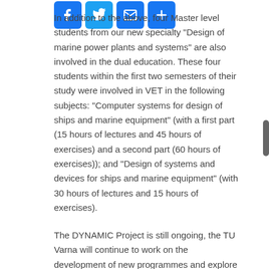In addition to the above, four Master level students from our new specialty "Design of marine power plants and systems" are also involved in the dual education. These four students within the first two semesters of their study were involved in VET in the following subjects: "Computer systems for design of ships and marine equipment" (with a first part (15 hours of lectures and 45 hours of exercises) and a second part (60 hours of exercises)); and "Design of systems and devices for ships and marine equipment" (with 30 hours of lectures and 15 hours of exercises).
The DYNAMIC Project is still ongoing, the TU Varna will continue to work on the development of new programmes and explore the possibilities to broaden uptake by students and implement project outcomes to VET in other specialities.
[Figure (infographic): Social media sharing icons: Facebook (blue), Twitter (blue), Email (blue envelope), Plus/share (blue)]